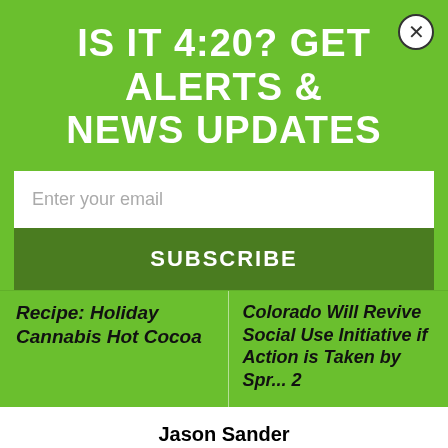IS IT 4:20? GET ALERTS & NEWS UPDATES
Enter your email
SUBSCRIBE
Recipe: Holiday Cannabis Hot Cocoa
Colorado Will Revive Social Use Initiative if Action is Taken by Spring 2
Jason Sander
Jason is a versatile writer and marketer with fifteen years of experience serving clients. He couples this expertise with a passion for cannabis businesses and the science of medical marijuana.